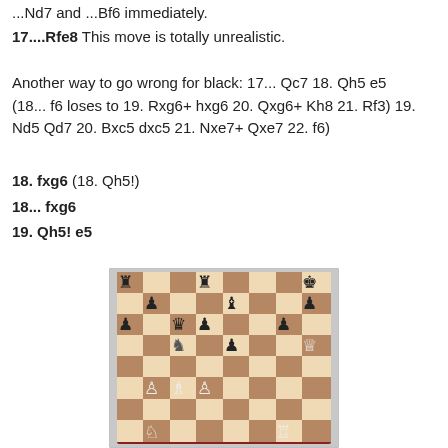...Nd7 and ...Bf6 immediately.
17....Rfe8 This move is totally unrealistic.
Another way to go wrong for black: 17... Qc7 18. Qh5 e5 (18... f6 loses to 19. Rxg6+ hxg6 20. Qxg6+ Kh8 21. Rf3) 19. Nd5 Qd7 20. Bxc5 dxc5 21. Nxe7+ Qxe7 22. f6)
18. fxg6 (18. Qh5!)
18... fxg6
19. Qh5! e5
[Figure (other): Chess board diagram showing a position after 19. Qh5! e5 with various pieces including rooks, queens, knights, bishops and pawns for both sides]